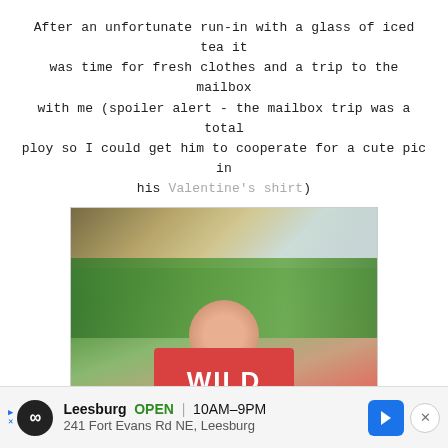After an unfortunate run-in with a glass of iced tea it was time for fresh clothes and a trip to the mailbox with me (spoiler alert - the mailbox trip was a total ploy so I could get him to cooperate for a cute pic in his Valentine's shirt)
[Figure (photo): A young boy wearing a red 'WILD THING' t-shirt standing outside in front of green bushes and shrubs, smiling at the camera. Houses and trees visible in background.]
Leesburg OPEN 10AM-9PM 241 Fort Evans Rd NE, Leesburg